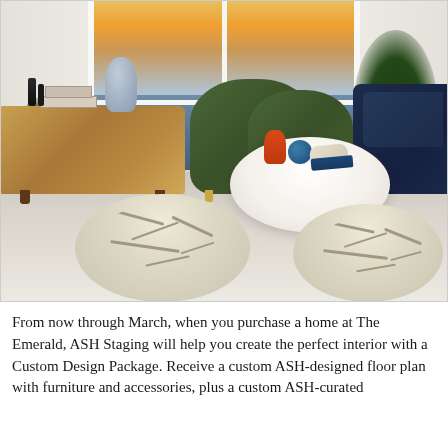[Figure (photo): Interior design photo of a modern living room with green velvet armchairs, patterned ottomans, a round white coffee table, a wooden credenza, indoor plants, and a large window view of water and sunset sky.]
From now through March, when you purchase a home at The Emerald, ASH Staging will help you create the perfect interior with a Custom Design Package. Receive a custom ASH-designed floor plan with furniture and accessories, plus a custom ASH-curated